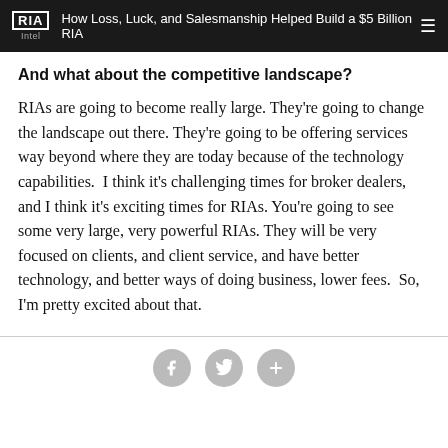RIA Intel | How Loss, Luck, and Salesmanship Helped Build a $5 Billion RIA
And what about the competitive landscape?
RIAs are going to become really large. They're going to change the landscape out there. They're going to be offering services way beyond where they are today because of the technology capabilities.  I think it's challenging times for broker dealers, and I think it's exciting times for RIAs. You're going to see some very large, very powerful RIAs. They will be very focused on clients, and client service, and have better technology, and better ways of doing business, lower fees.  So, I'm pretty excited about that.
[Figure (other): Social sharing icons: Facebook (f), Twitter (bird), and a plus (+) button, arranged horizontally at the bottom of the page.]